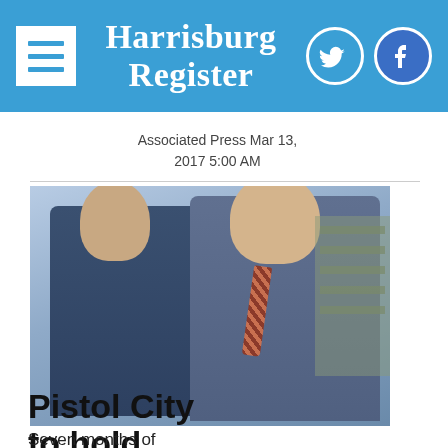Harrisburg Register
Associated Press Mar 13, 2017 5:00 AM
[Figure (photo): Two men standing together posing for a photo indoors. The man on the left has longer dark hair and a beard, wearing a blue shirt. The man on the right is larger, wearing a blue button-up shirt with a plaid tie.]
Pistol City to hold 'Millionaire' viewing party
Seven months of